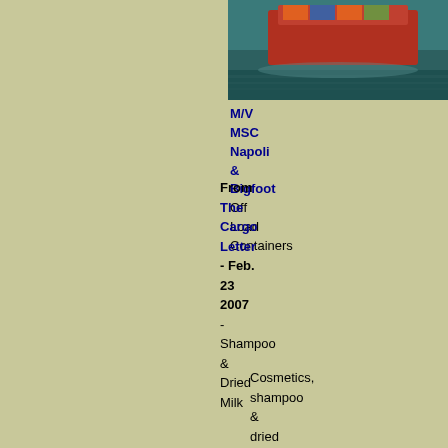[Figure (photo): Aerial photo of cargo ship MSC Napoli at port, with containers visible on deck and water around the vessel]
M/V MSC Napoli & Bigfoot Off Load Containers
From The Cargo Letter - Feb. 23 2007 - Shampoo & Dried Milk
Cosmetics, shampoo & dried milk from